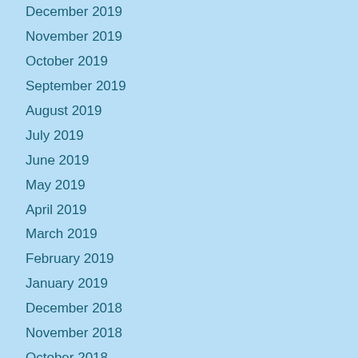December 2019
November 2019
October 2019
September 2019
August 2019
July 2019
June 2019
May 2019
April 2019
March 2019
February 2019
January 2019
December 2018
November 2018
October 2018
September 2018
April 2015
March 2015